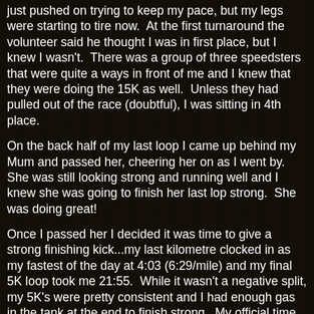just pushed on trying to keep my pace, but my legs were starting to tire now.  At the first turnaround the volunteer said he thought I was in first place, but I knew I wasn't.  There was a group of three speedsters that were quite a ways in front of me and I knew that they were doing the 15K as well.  Unless they had pulled out of the race (doubtful), I was sitting in 4th place.
On the back half of my last loop I came up behind my Mum and passed her, cheering her on as I went by.  She was still looking strong and running well and I knew she was going to finish her last lop strong.  She was doing great!
Once I passed her I decided it was time to give a strong finishing kick...my last kilometre clocked in as my fastest of the day at 4:03 (6:29/mile) and my final 5K loop took me 21:55.  While it wasn't a negative split, my 5K's were pretty consistent and I had enough gas in the tank at the end to finish strong.  My official time was 1:04:59 with a pace of 4:20/km (6:56/mile), which is just a touch faster than my last Half Marathon from a few weeks ago.  I've been quite pleased with my pace lately, getting most runs in around the 7:00/mile mark, but I still need to work a little bit on my